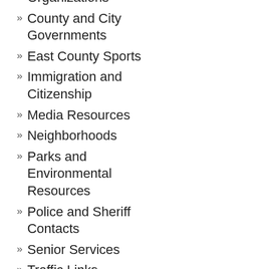Organizations
County and City Governments
East County Sports
Immigration and Citizenship
Media Resources
Neighborhoods
Parks and Environmental Resources
Police and Sheriff Contacts
Senior Services
Traffic Links
Utilities
Veterans & Military
Visitors & Tourism